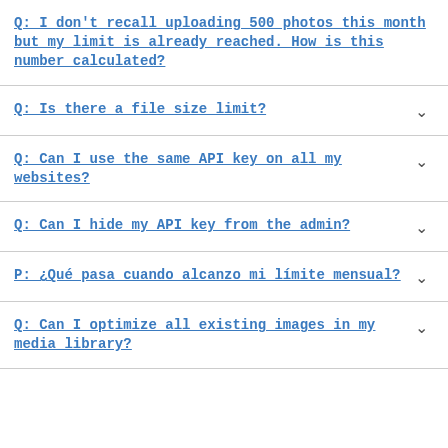Q: I don't recall uploading 500 photos this month but my limit is already reached. How is this number calculated?
Q: Is there a file size limit?
Q: Can I use the same API key on all my websites?
Q: Can I hide my API key from the admin?
P: ¿Qué pasa cuando alcanzo mi límite mensual?
Q: Can I optimize all existing images in my media library?